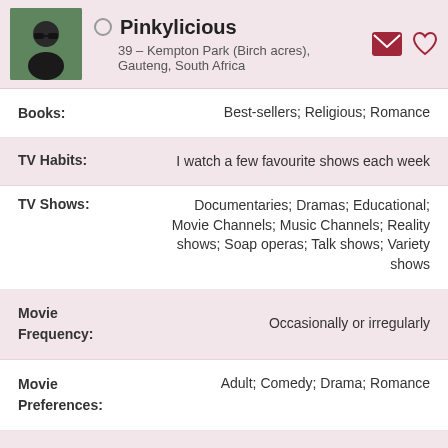Pinkylicious
39 – Kempton Park (Birch acres), Gauteng, South Africa
Books: Best-sellers; Religious; Romance
TV Habits: I watch a few favourite shows each week
TV Shows: Documentaries; Dramas; Educational; Movie Channels; Music Channels; Reality shows; Soap operas; Talk shows; Variety shows
Movie Frequency: Occasionally or irregularly
Movie Preferences: Adult; Comedy; Drama; Romance
Interests: Business news; Cooking; Gardening; Investing; Meditation; Shopping; Singing